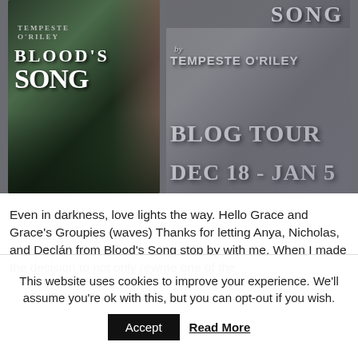[Figure (illustration): Blog tour promotional banner for 'Blood's Song' by Tempeste O'Riley. Left side shows the book cover with a red-haired woman and gothic building. Right side shows text: 'by Tempeste O'Riley', 'Blog Tour', 'Dec 18 - Jan 5' on a grey background with building imagery.]
Even in darkness, love lights the way. Hello Grace and Grace's Groupies (waves) Thanks for letting Anya, Nicholas, and Declán from Blood's Song stop by with me. When I made the decision to not only rewrite one of the
This website uses cookies to improve your experience. We'll assume you're ok with this, but you can opt-out if you wish.